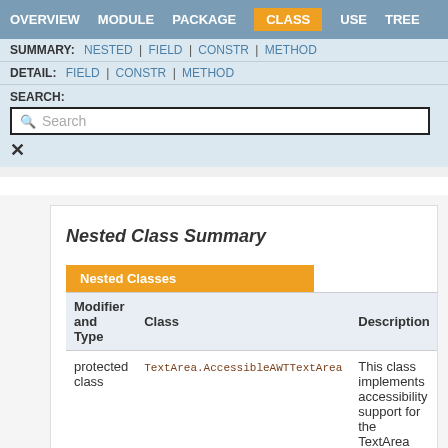OVERVIEW   MODULE   PACKAGE   CLASS   USE   TREE
SUMMARY: NESTED | FIELD | CONSTR | METHOD
DETAIL: FIELD | CONSTR | METHOD
SEARCH:
Search
Nested Class Summary
| Modifier and Type | Class | Description |
| --- | --- | --- |
| protected class | TextArea.AccessibleAWTTextArea | This class implements accessibility support for the TextArea |